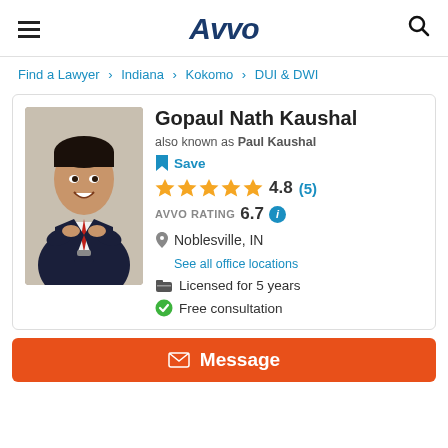Avvo
Find a Lawyer > Indiana > Kokomo > DUI & DWI
[Figure (photo): Professional headshot of Gopaul Nath Kaushal in a dark suit and red tie, arms crossed, smiling]
Gopaul Nath Kaushal
also known as Paul Kaushal
Save
4.8 (5)
AVVO RATING 6.7
Noblesville, IN
See all office locations
Licensed for 5 years
Free consultation
Message